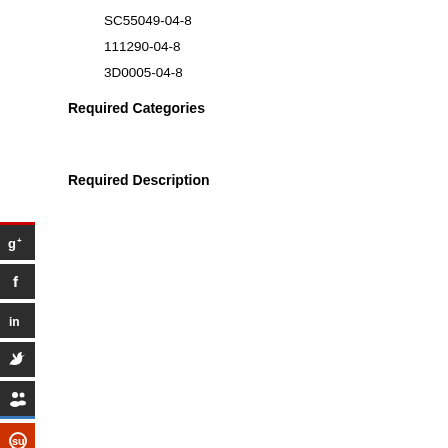SC55049-04-8
111290-04-8
3D0005-04-8
Required Categories
Required Description
[Figure (infographic): Social media share buttons: Google+, Facebook, LinkedIn, Twitter, People/social aggregator, StumbleUpon]